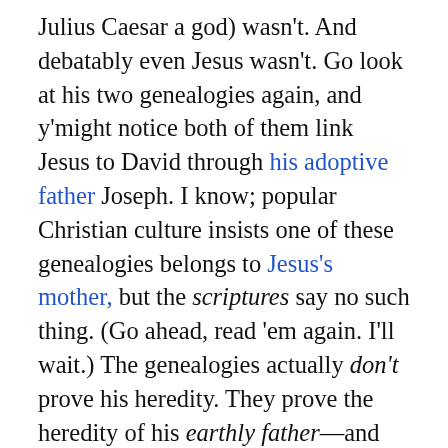Julius Caesar a god) wasn't. And debatably even Jesus wasn't. Go look at his two genealogies again, and y'might notice both of them link Jesus to David through his adoptive father Joseph. I know; popular Christian culture insists one of these genealogies belongs to Jesus's mother, but the scriptures say no such thing. (Go ahead, read 'em again. I'll wait.) The genealogies actually don't prove his heredity. They prove the heredity of his earthly father—and since Jesus was adopted into that family, it totally counts the same as if he were born into it. Still: Some people are way too hung up on biology. So I figured I'd deal with them first.     Secondly even if Jesus is the scion of the house of David, that house was overthrown